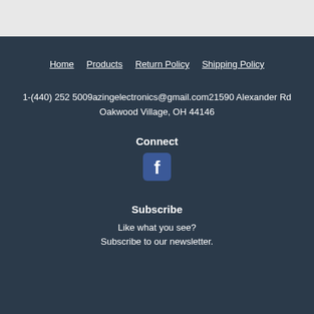Home
Products
Return Policy
Shipping Policy
1-(440) 252 5009azingelectronics@gmail.com21590 Alexander Rd Oakwood Village, OH 44146
Connect
[Figure (logo): Facebook icon - rounded square with white F letter on dark background]
Subscribe
Like what you see?
Subscribe to our newsletter.